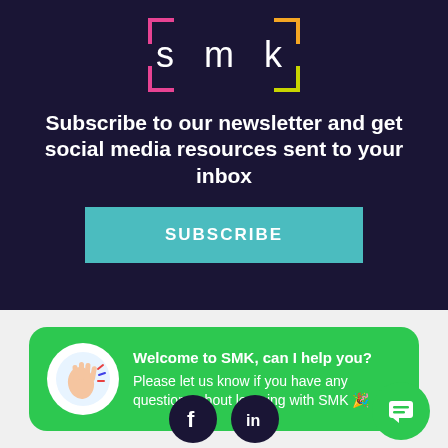[Figure (logo): SMK logo with colored corner brackets on dark navy background]
Subscribe to our newsletter and get social media resources sent to your inbox
SUBSCRIBE
Welcome to SMK, can I help you?
Please let us know if you have any questions about learning with SMK 🎉
[Figure (illustration): Facebook and LinkedIn social media icons, and a green chat FAB button]